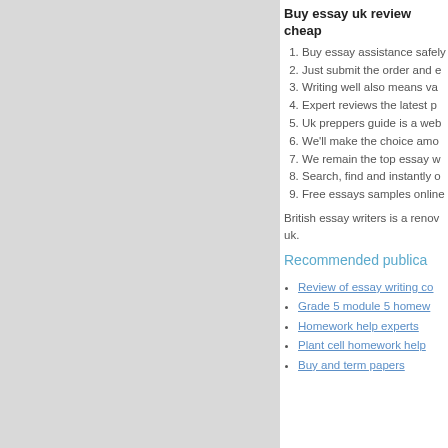Buy essay uk review cheap
Buy essay assistance safely
Just submit the order and
Writing well also means va
Expert reviews the latest p
Uk preppers guide is a web
We'll make the choice amo
We remain the top essay w
Search, find and instantly o
Free essays samples online
British essay writers is a renov uk.
Recommended publica
Review of essay writing co
Grade 5 module 5 homew
Homework help experts
Plant cell homework help
Buy and term papers